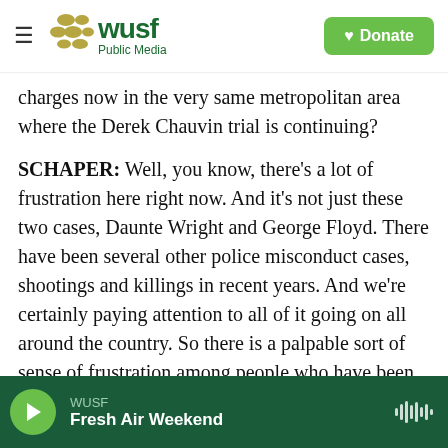WUSF Public Media | Donate
charges now in the very same metropolitan area where the Derek Chauvin trial is continuing?
SCHAPER: Well, you know, there's a lot of frustration here right now. And it's not just these two cases, Daunte Wright and George Floyd. There have been several other police misconduct cases, shootings and killings in recent years. And we're certainly paying attention to all of it going on all around the country. So there is a palpable sort of sense of frustration among people who have been out protesting and even in the general community at large. I feel, because of the way these cases
WUSF | Fresh Air Weekend